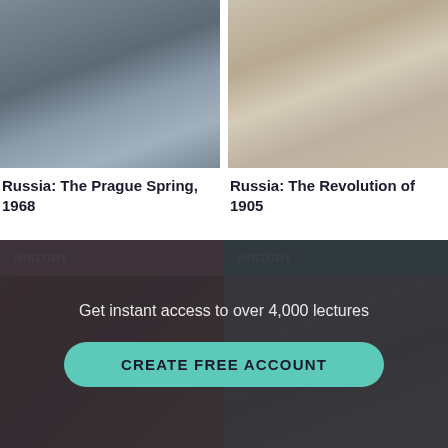[Figure (photo): Black and white photograph of people at a construction or protest site, Prague Spring 1968]
[Figure (photo): Sepia-toned historical photo of crowds and mounted soldiers during the Russian Revolution of 1905]
Russia: The Prague Spring, 1968
Russia: The Revolution of 1905
[Figure (photo): Color painting/photo of Stalin portrait with red background, History category]
[Figure (photo): Black and white historical photo of military figures, History category]
Get instant access to over 4,000 lectures
CREATE FREE ACCOUNT